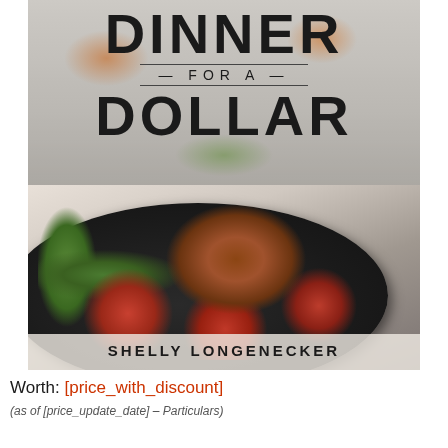[Figure (photo): Book cover of 'Dinner for a Dollar' by Shelly Longenecker. Top half shows large bold text 'DINNER FOR A DOLLAR' on a muted food background with vegetables. Bottom half shows a cast iron skillet with a seared piece of meat, red potatoes, green onions/leeks, and orange vegetables. Author name 'SHELLY LONGENECKER' appears at the bottom of the cover.]
Worth: [price_with_discount]
(as of [price_update_date] – Particulars)